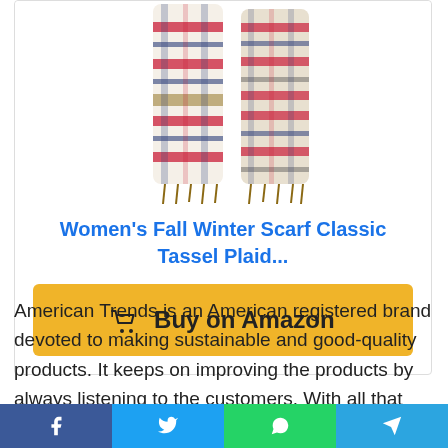[Figure (photo): Product photo of a plaid tassel scarf, two views, worn draped.]
Women's Fall Winter Scarf Classic Tassel Plaid...
Buy on Amazon
American Trends is an American registered brand devoted to making sustainable and good-quality products. It keeps on improving the products by always listening to the customers. With all that
f  y  WhatsApp  Telegram